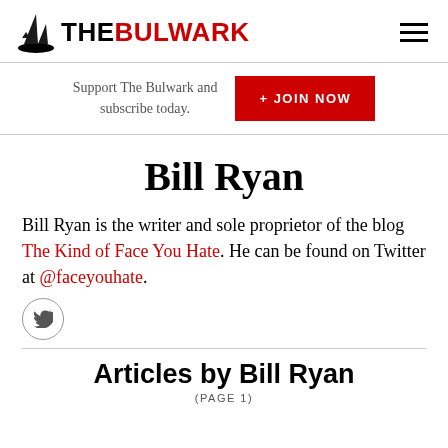THE BULWARK
Support The Bulwark and subscribe today. + JOIN NOW
Bill Ryan
Bill Ryan is the writer and sole proprietor of the blog The Kind of Face You Hate. He can be found on Twitter at @faceyouhate.
Articles by Bill Ryan
(PAGE 1)